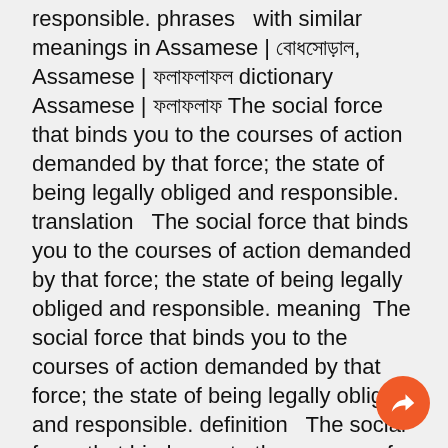responsible. phrases  with similar meanings in Assamese | অনুভূতি, Assamese | অনুভূতির dictionary Assamese | অনুভূতির The social force that binds you to the courses of action demanded by that force; the state of being legally obliged and responsible. translation   The social force that binds you to the courses of action demanded by that force; the state of being legally obliged and responsible. meaning   The social force that binds you to the courses of action demanded by that force; the state of being legally obliged and responsible. definition   The social force that binds you to the courses of action demanded by that force; the state of being legally obliged and responsible. antonym   The social force that binds you to the courses of action demanded by that force; the state of being legally obliged and responsible. synonym Assamese language reference work for finding synonyms,   antonyms of The social force that binds you to the courses of action demanded by that force; the state of being legally obliged and responsible..